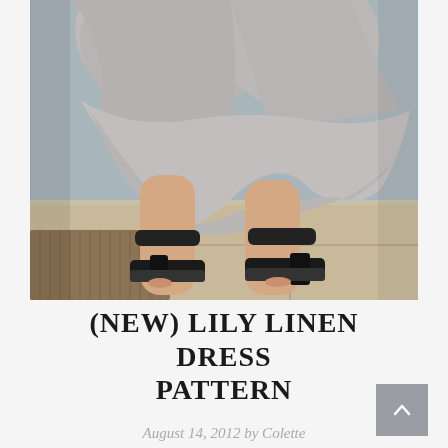[Figure (photo): Close-up photo of a person's lower legs and feet wearing black open-toe heeled sandals with ankle straps, dressed in a gray flowing linen dress, standing on a beige stone-tiled porch near a doormat]
(NEW) LILY LINEN DRESS PATTERN
August 14, 2012 by Colette